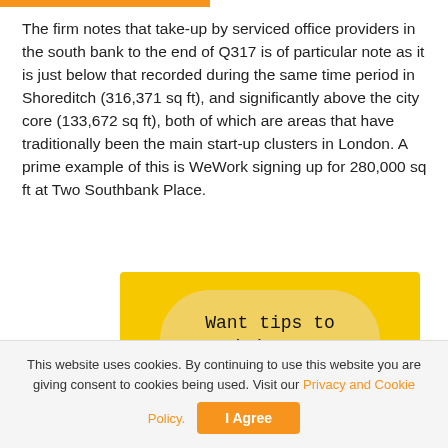The firm notes that take-up by serviced office providers in the south bank to the end of Q317 is of particular note as it is just below that recorded during the same time period in Shoreditch (316,371 sq ft), and significantly above the city core (133,672 sq ft), both of which are areas that have traditionally been the main start-up clusters in London. A prime example of this is WeWork signing up for 280,000 sq ft at Two Southbank Place.
[Figure (other): Advertisement banner with yellow background and rounded light-yellow bubble containing text 'Want tips to optimize your coworking space?']
This website uses cookies. By continuing to use this website you are giving consent to cookies being used. Visit our Privacy and Cookie Policy.